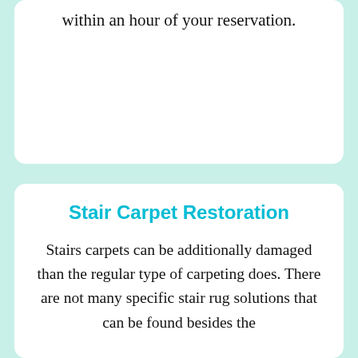within an hour of your reservation.
Stair Carpet Restoration
Stairs carpets can be additionally damaged than the regular type of carpeting does. There are not many specific stair rug solutions that can be found besides the